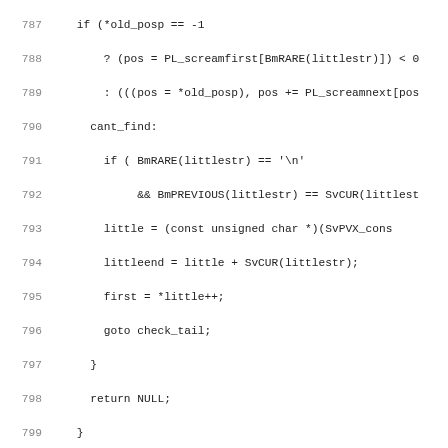[Figure (screenshot): Source code listing in monospace font showing lines 787-818 of a C/Perl source file implementing a Boyer-Moore string search algorithm, with line numbers on the left and code on the right.]